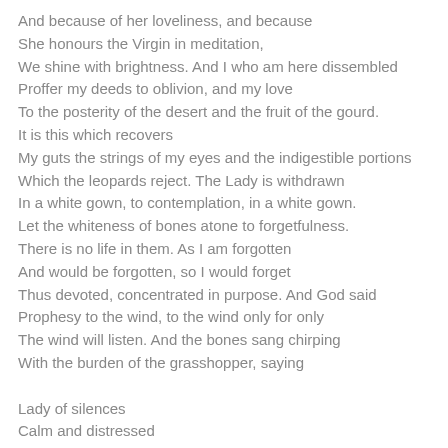And because of her loveliness, and because
She honours the Virgin in meditation,
We shine with brightness. And I who am here dissembled
Proffer my deeds to oblivion, and my love
To the posterity of the desert and the fruit of the gourd.
It is this which recovers
My guts the strings of my eyes and the indigestible portions
Which the leopards reject. The Lady is withdrawn
In a white gown, to contemplation, in a white gown.
Let the whiteness of bones atone to forgetfulness.
There is no life in them. As I am forgotten
And would be forgotten, so I would forget
Thus devoted, concentrated in purpose. And God said
Prophesy to the wind, to the wind only for only
The wind will listen. And the bones sang chirping
With the burden of the grasshopper, saying

Lady of silences
Calm and distressed
Torn and most whole
Rose of memory
Rose of forgetfulness